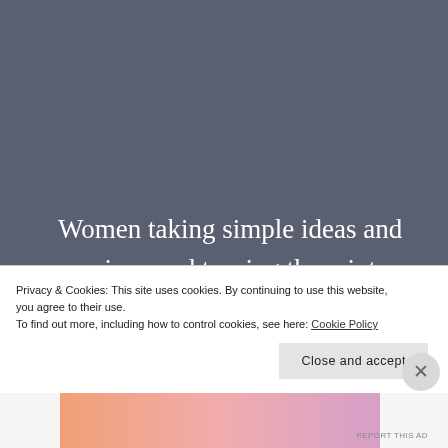Women taking simple ideas and passions and turning them into profitable businesses. These are just a few of the women who paved the way for women like me.  Each women uniquely grooming their ventures to excel in a
Privacy & Cookies: This site uses cookies. By continuing to use this website, you agree to their use.
To find out more, including how to control cookies, see here: Cookie Policy
Close and accept